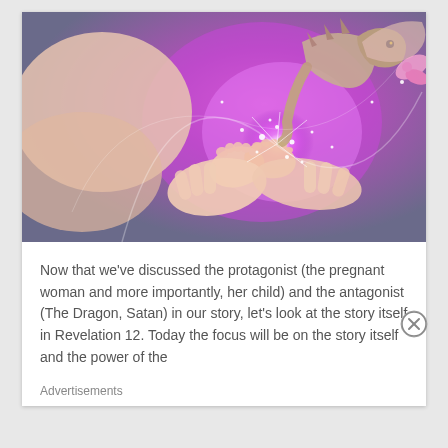[Figure (illustration): Fantasy digital illustration showing a baby's feet held in adult hands, with a dragon and pink/purple magical glowing light effects in the background.]
Now that we've discussed the protagonist (the pregnant woman and more importantly, her child) and the antagonist (The Dragon, Satan) in our story, let's look at the story itself in Revelation 12. Today the focus will be on the story itself and the power of the
Advertisements